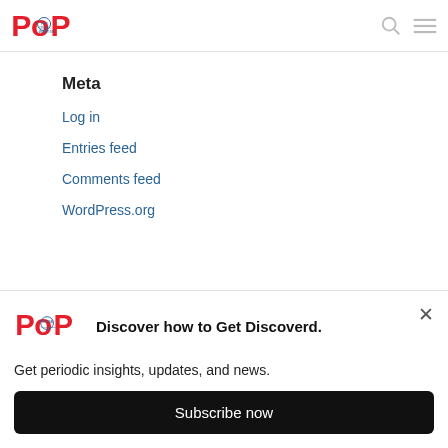POP [logo] | search icon | menu icon
Meta
Log in
Entries feed
Comments feed
WordPress.org
[Figure (logo): POP Digital Marketing logo in popup banner]
Discover how to Get Discoverd.
Get periodic insights, updates, and news.
Subscribe now